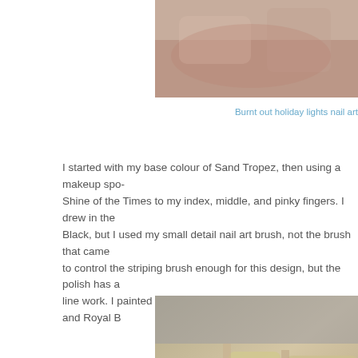[Figure (photo): Close-up photo of fingers/hand, cropped — top portion visible at top right of page]
Burnt out holiday lights nail art
I started with my base colour of Sand Tropez, then using a makeup spo- Shine of the Times to my index, middle, and pinky fingers. I drew in the Black, but I used my small detail nail art brush, not the brush that came to control the striping brush enough for this design, but the polish has a line work. I painted in the bulbs with Viridian, Miss Conduct, and Royal B
[Figure (photo): Close-up photo of hand showing nails painted with holiday lights nail art design — Sandy/gold glitter base with painted colorful bulbs (pink, teal, blue) and black line work on multiple fingers]